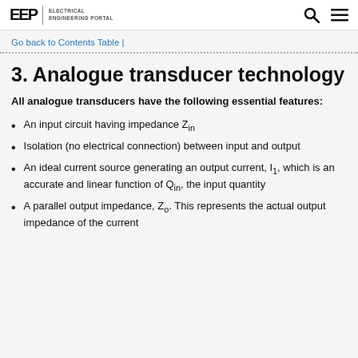EEP | ELECTRICAL ENGINEERING PORTAL
Go back to Contents Table |
3. Analogue transducer technology
All analogue transducers have the following essential features:
An input circuit having impedance Z_in
Isolation (no electrical connection) between input and output
An ideal current source generating an output current, I_1, which is an accurate and linear function of Q_in, the input quantity
A parallel output impedance, Z_o. This represents the actual output impedance of the current